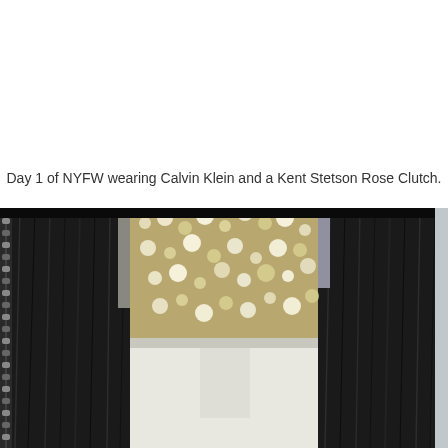Day 1 of NYFW wearing Calvin Klein and a Kent Stetson Rose Clutch.
[Figure (photo): Close-up photo of a person wearing a black fur/faux fur jacket over a silver sequined top and white skirt or pants. The photo is cropped to show the torso and arms, with a chain detail visible on the left side.]